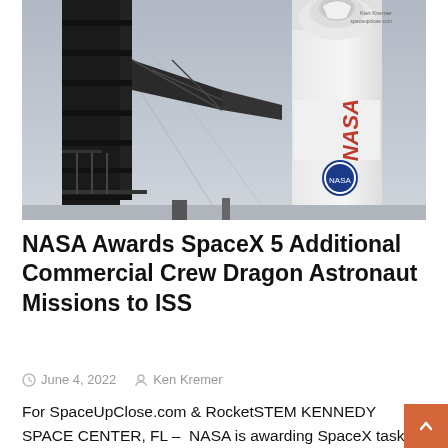[Figure (photo): SpaceX Crew Dragon capsule on a Falcon 9 rocket at a launch pad, with launch tower structure visible in foreground/background. NASA worm logo visible on the rocket. Photo credit: Ken Kremer / spaceupclose.com]
NASA Awards SpaceX 5 Additional Commercial Crew Dragon Astronaut Missions to ISS
June 4, 2022   Ken Kremer
For SpaceUpClose.com & RocketSTEM KENNEDY SPACE CENTER, FL –  NASA is awarding SpaceX task orders for five additional commercial Crew Dragon